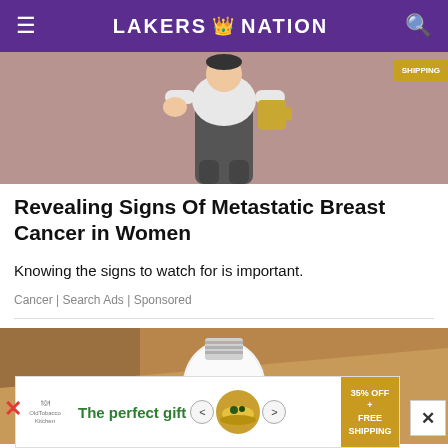LAKERS NATION
[Figure (illustration): Advertisement image showing a cartoon illustration of a person with a shipping badge overlay, on a mauve/pink background]
Revealing Signs Of Metastatic Breast Cancer in Women
Knowing the signs to watch for is important.
Cancer | Search Ads | Sponsored
[Figure (photo): Photo of a hand holding a white light bulb-shaped security camera against a wooden background]
[Figure (infographic): Bottom advertisement banner: The perfect gift - 35% OFF + FREE SHIPPING]